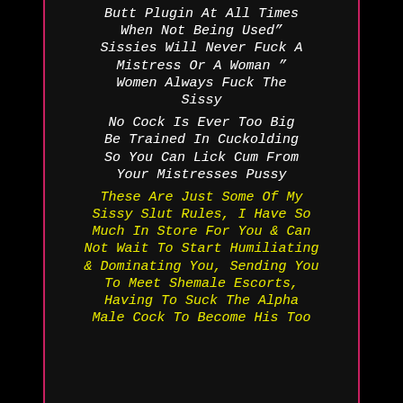Butt Plugin At All Times When Not Being Used" Sissies Will Never Fuck A Mistress Or A Woman " Women Always Fuck The Sissy No Cock Is Ever Too Big Be Trained In Cuckolding So You Can Lick Cum From Your Mistresses Pussy These Are Just Some Of My Sissy Slut Rules, I Have So Much In Store For You & Can Not Wait To Start Humiliating & Dominating You, Sending You To Meet Shemale Escorts, Having To Suck The Alpha Male Cock To Become His Too